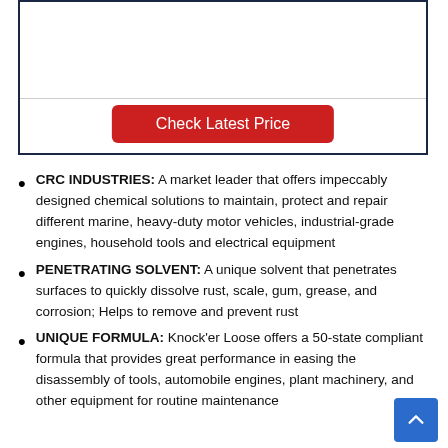[Figure (other): Product listing card with a horizontal divider and a red 'Check Latest Price' button]
CRC INDUSTRIES: A market leader that offers impeccably designed chemical solutions to maintain, protect and repair different marine, heavy-duty motor vehicles, industrial-grade engines, household tools and electrical equipment
PENETRATING SOLVENT: A unique solvent that penetrates surfaces to quickly dissolve rust, scale, gum, grease, and corrosion; Helps to remove and prevent rust
UNIQUE FORMULA: Knock’er Loose offers a 50-state compliant formula that provides great performance in easing the disassembly of tools, automobile engines, plant machinery, and other equipment for routine maintenance